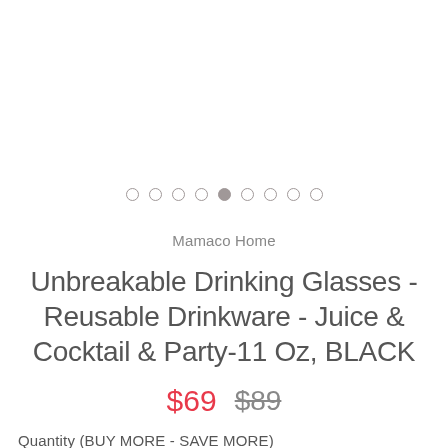[Figure (other): Carousel dot navigation: 9 dots in a row, 5th dot filled/active, others are hollow circles]
Mamaco Home
Unbreakable Drinking Glasses - Reusable Drinkware - Juice & Cocktail & Party-11 Oz, BLACK
$69  $89 (strikethrough)
Quantity (BUY MORE - SAVE MORE)